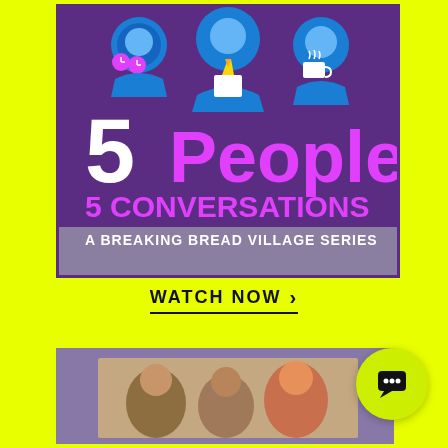[Figure (illustration): Purple promotional graphic for '5 People 5 Conversations - A Breaking Bread Village Series' with illustrated characters at the top including a person with clock icons, a person with a tie, and a person with a coffee cup. Large bold white '5' and pink 'People' text, with '5 CONVERSATIONS' in pink below and 'A BREAKING BREAD VILLAGE SERIES' in white at the bottom.]
WATCH NOW >
[Figure (photo): Partial photo showing people in front of a purple/gray background, appearing to be a video thumbnail or screenshot.]